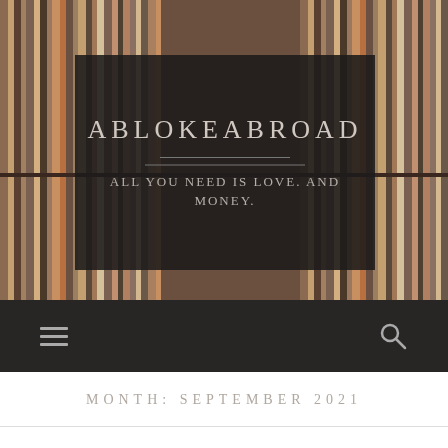[Figure (photo): Background photo of vinyl record sleeves/books arranged tightly on shelves, viewed from the front, with colorful spines visible.]
ABLOKEABROAD
All you need is love. And money.
MONTH: SEPTEMBER 2021